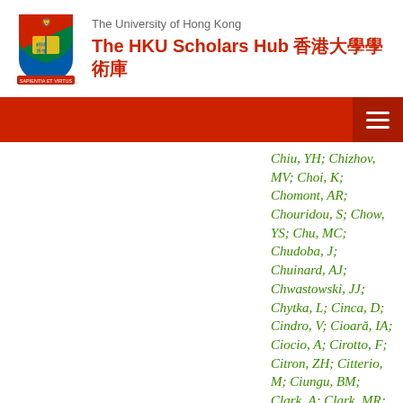The University of Hong Kong — The HKU Scholars Hub 香港大學學術庫
Chiu, YH; Chizhov, MV; Choi, K; Chomont, AR; Chouridou, S; Chow, YS; Chu, MC; Chudoba, J; Chuinard, AJ; Chwastowski, JJ; Chytka, L; Cinca, D; Cindro, V; Cioară, IA; Ciocio, A; Cirotto, F; Citron, ZH; Citterio, M; Ciungu, BM; Clark, A; Clark, MR; Clark, PJ; Clement, C; Coadou, Y; Cobal, M; Coccaro, A;